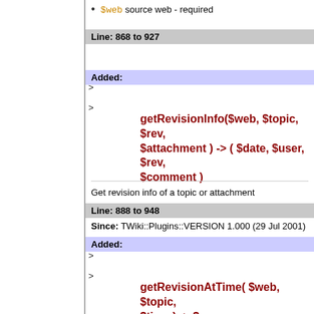$web source web - required
Line: 868 to 927
Added:
> >
getRevisionInfo($web, $topic, $rev, $attachment ) -> ( $date, $user, $rev, $comment )
Get revision info of a topic or attachment
Line: 888 to 948
Since: TWiki::Plugins::VERSION 1.000 (29 Jul 2001)
Added:
> >
getRevisionAtTime( $web, $topic, $time ) -> $rev